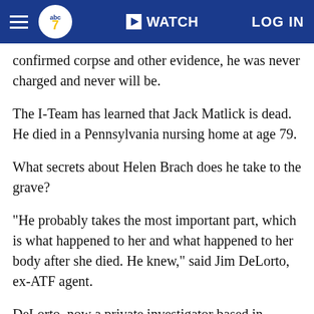abc7 | WATCH | LOG IN
confirmed corpse and other evidence, he was never charged and never will be.
The I-Team has learned that Jack Matlick is dead. He died in a Pennsylvania nursing home at age 79.
What secrets about Helen Brach does he take to the grave?
"He probably takes the most important part, which is what happened to her and what happened to her body after she died. He knew," said Jim DeLorto, ex-ATF agent.
DeLorto, now a private investigator based in Batavia, supervised the Brach case and a related horse-killing insurance scheme.
Mrs. Brach had found out about the criminal business while